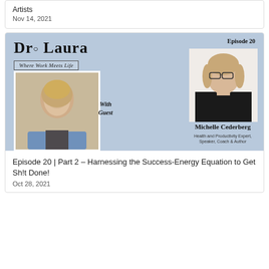Artists
Nov 14, 2021
[Figure (photo): Podcast episode card for Dr. Laura 'Where Work Meets Life', Episode 20, featuring host Dr. Laura (blonde woman in blue blazer) and guest Michelle Cederberg (Health and Productivity Expert, Speaker, Coach & Author, woman with glasses in black dress)]
Episode 20 | Part 2 – Harnessing the Success-Energy Equation to Get Sh!t Done!
Oct 28, 2021